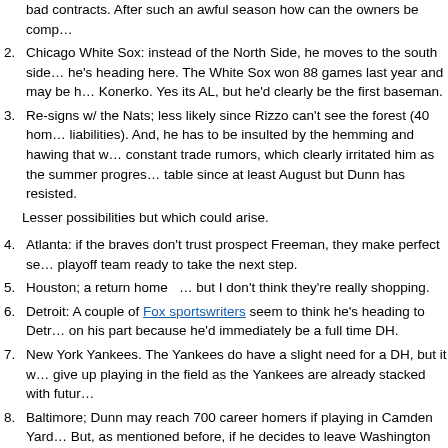bad contracts.  After such an awful season how can the owners be comp…
2. Chicago White Sox: instead of the North Side, he moves to the south side… he's heading here.  The White Sox won 88 games last year and may be h… Konerko.  Yes its AL, but he'd clearly be the first baseman.
3. Re-signs w/ the Nats; less likely since Rizzo can't see the forest (40 hom… liabilities).  And, he has to be insulted by the hemming and hawing that w… constant trade rumors, which clearly irritated him as the summer progres… table since at least August but Dunn has resisted.
Lesser possibilities but which could arise.
4. Atlanta: if the braves don't trust prospect Freeman, they make perfect se… playoff team ready to take the next step.
5. Houston; a return home  … but I don't think they're really shopping.
6. Detroit: A couple of Fox sportswriters seem to think he's heading to Detr… on his part because he'd immediately be a full time DH.
7. New York Yankees.  The Yankees do have a slight need for a DH, but it w… give up playing in the field as the Yankees are already stacked with futur…
8. Baltimore; Dunn may reach 700 career homers if playing in Camden Yard… But, as mentioned before, if he decides to leave Washington (an up and … contend by the time his contract ends), why would he go to a place like B… a division that shows no signs of ever having an off year.  In fact, why wo… Baltimore?
9. Oakland: listed by Ben Reiter as a dark horse for Dunn's services.  Don't